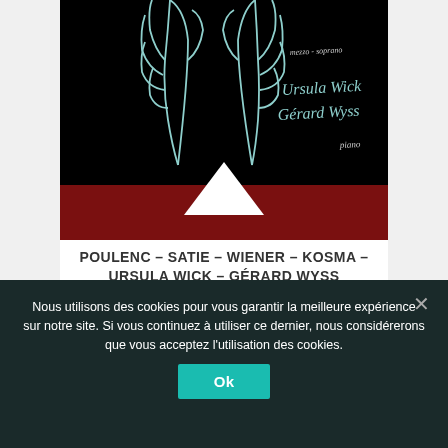[Figure (illustration): Album cover art with dark/black background showing hand illustrations in light teal/mint color, a deep red/maroon horizontal band at the bottom with a white triangle, and handwritten-style text on the right reading 'mezzo-soprano Ursula Wick Gérard Wyss piano']
POULENC – SATIE – WIENER – KOSMA – URSULA WICK – GÉRARD WYSS
GALLO CD-831
Nous utilisons des cookies pour vous garantir la meilleure expérience sur notre site. Si vous continuez à utiliser ce dernier, nous considérerons que vous acceptez l'utilisation des cookies.
Ok